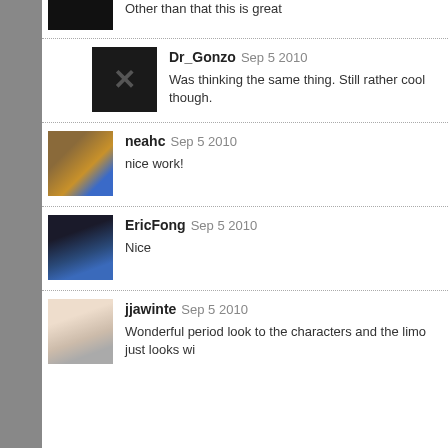Other than that this is great
Dr_Gonzo Sep 5 2010
Was thinking the same thing. Still rather cool though.
neahc Sep 5 2010
nice work!
EricFong Sep 5 2010
Nice
jjawinte Sep 5 2010
Wonderful period look to the characters and the limo just looks wi…